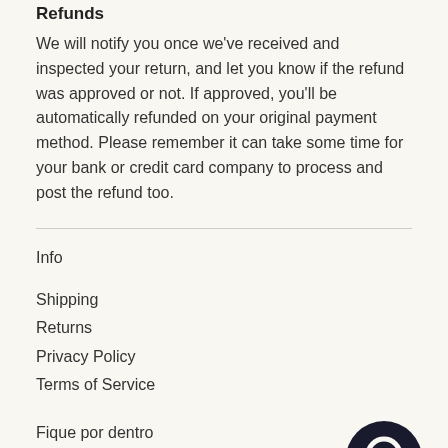Refunds
We will notify you once we've received and inspected your return, and let you know if the refund was approved or not. If approved, you'll be automatically refunded on your original payment method. Please remember it can take some time for your bank or credit card company to process and post the refund too.
Info
Shipping
Returns
Privacy Policy
Terms of Service
Fique por dentro
Promotions, new products and sales. Directly to your